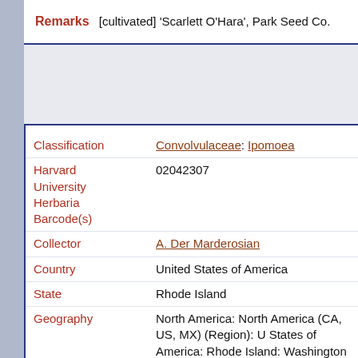Remarks [cultivated] 'Scarlett O'Hara', Park Seed Co.
| Field | Value |
| --- | --- |
| Classification | Convolvulaceae: Ipomoea |
| Harvard University Herbaria Barcode(s) | 02042307 |
| Collector | A. Der Marderosian |
| Country | United States of America |
| State | Rhode Island |
| Geography | North America: North America (CA, US, MX) (Region): United States of America: Rhode Island: Washington County: South Kingston |
| Locality | University of Rhode Island |
| Date Collected | 1963-10-08 |
| Habitat | Drug Plant Garden |
| Project | US and Canada - Mass Digitization |
| GUID | http://... |